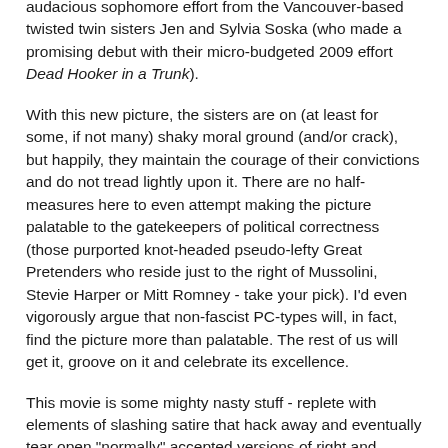audacious sophomore effort from the Vancouver-based twisted twin sisters Jen and Sylvia Soska (who made a promising debut with their micro-budgeted 2009 effort Dead Hooker in a Trunk).
With this new picture, the sisters are on (at least for some, if not many) shaky moral ground (and/or crack), but happily, they maintain the courage of their convictions and do not tread lightly upon it. There are no half-measures here to even attempt making the picture palatable to the gatekeepers of political correctness (those purported knot-headed pseudo-lefty Great Pretenders who reside just to the right of Mussolini, Stevie Harper or Mitt Romney - take your pick). I'd even vigorously argue that non-fascist PC-types will, in fact, find the picture more than palatable. The rest of us will get it, groove on it and celebrate its excellence.
This movie is some mighty nasty stuff - replete with elements of slashing satire that hack away and eventually tear open "normally" accepted versions of right and wrong whilst grasping the exposed nerve endings of morality, holding them taught and playing the jangling buggers like violin